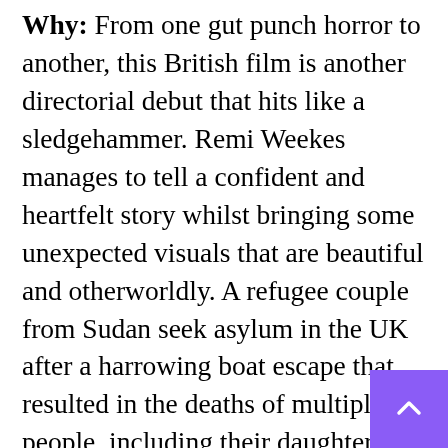Why: From one gut punch horror to another, this British film is another directorial debut that hits like a sledgehammer. Remi Weekes manages to tell a confident and heartfelt story whilst bringing some unexpected visuals that are beautiful and otherworldly. A refugee couple from Sudan seek asylum in the UK after a harrowing boat escape that resulted in the deaths of multiple people, including their daughter. They're given a house in an unknown area and a whole heap of rules to follow that leave them abandoned and scared in a house that becomes a nightmarish trap. It does not hold back in bringing the horror right away whilst still managing to leave some of its most shocking and terrifying events for the film's climax.  The messages of this film will sit with